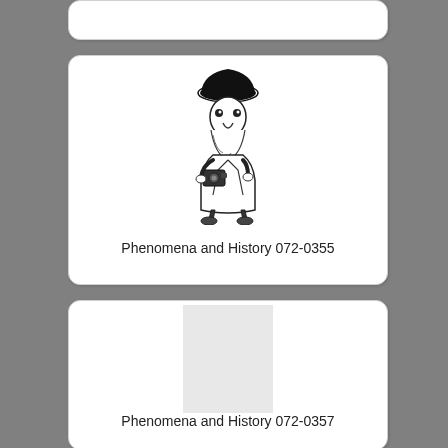[Figure (illustration): Partial view of a card at the top of the page, cropped]
[Figure (illustration): Card with a black and white cartoon illustration of a gnome or dwarf character holding a camera, dressed in a hat and coat]
Phenomena and History 072-0355
[Figure (illustration): Card with a light gray rectangular placeholder image (no image loaded)]
Phenomena and History 072-0357